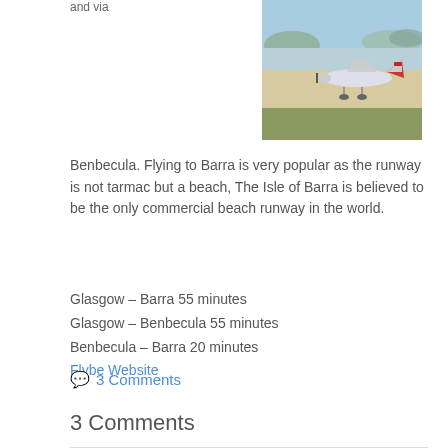and via
[Figure (photo): A small propeller aircraft on a beach runway with sand, grass, and water/hills in the background under a blue sky.]
Benbecula. Flying to Barra is very popular as the runway is not tarmac but a beach, The Isle of Barra is believed to be the only commercial beach runway in the world.
Glasgow – Barra 55 minutes
Glasgow – Benbecula 55 minutes
Benbecula – Barra 20 minutes
Flybe Website
💬 3 Comments
3 Comments